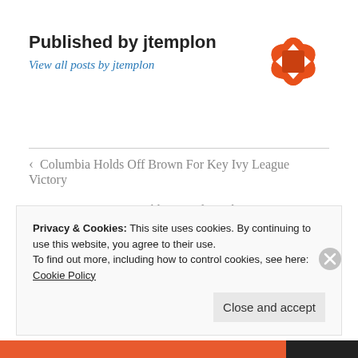Published by jtemplon
View all posts by jtemplon
[Figure (logo): Orange decorative circular logo with navigation arrows (up, down, left, right) and a square in the center, resembling a game controller or map control icon]
< Columbia Holds Off Brown For Key Ivy League Victory
Ivy League Weekly Roundup: The Mania Begins >
2 thoughts on
Privacy & Cookies: This site uses cookies. By continuing to use this website, you agree to their use.
To find out more, including how to control cookies, see here: Cookie Policy
Close and accept